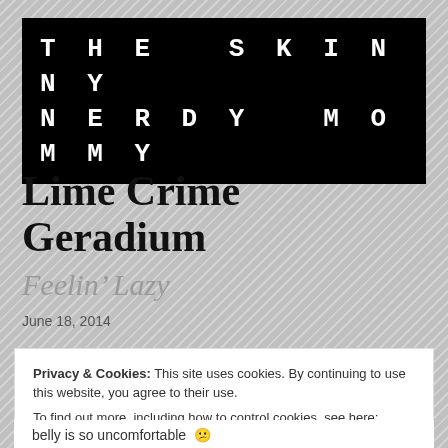THE SKINNY NERDY MOMMY
Lime Crime Geradium
Feelin’ Lazy
June 18, 2014
Privacy & Cookies: This site uses cookies. By continuing to use this website, you agree to their use.
To find out more, including how to control cookies, see here: Cookie Policy
Close and accept
belly is so uncomfortable 😕